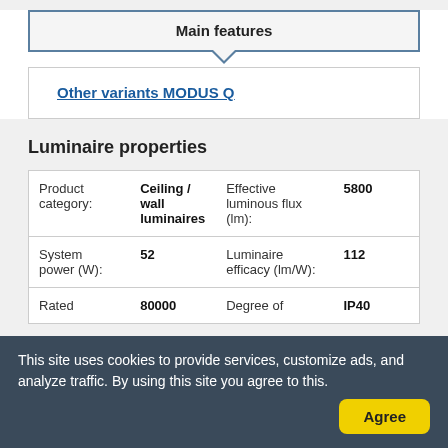Main features
Other variants MODUS Q
Luminaire properties
|  |  |  |  |
| --- | --- | --- | --- |
| Product category: | Ceiling / wall luminaires | Effective luminous flux (lm): | 5800 |
| System power (W): | 52 | Luminaire efficacy (lm/W): | 112 |
| Rated | 80000 | Degree of | IP40 |
This site uses cookies to provide services, customize ads, and analyze traffic. By using this site you agree to this.